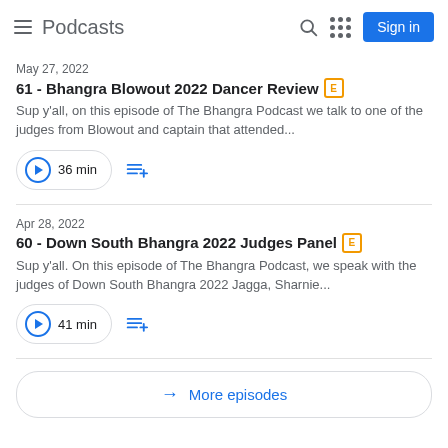Podcasts
May 27, 2022
61 - Bhangra Blowout 2022 Dancer Review [E]
Sup y'all, on this episode of The Bhangra Podcast we talk to one of the judges from Blowout and captain that attended...
36 min
Apr 28, 2022
60 - Down South Bhangra 2022 Judges Panel [E]
Sup y'all. On this episode of The Bhangra Podcast, we speak with the judges of Down South Bhangra 2022 Jagga, Sharnie...
41 min
More episodes